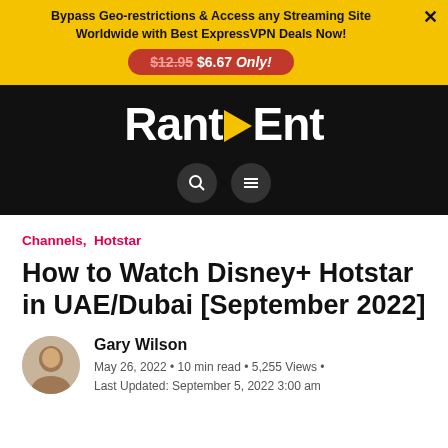Bypass Geo-restrictions & Access any Streaming Site Worldwide with Best ExpressVPN Deals Now! $12.95 $6.67 Only!
[Figure (logo): RantEnt website logo with yellow play button icon on black background]
Channels, Hotstar
How to Watch Disney+ Hotstar in UAE/Dubai [September 2022]
Gary Wilson
May 26, 2022 • 10 min read • 5,255 Views • Last Updated: September 5, 2022 3:00 am